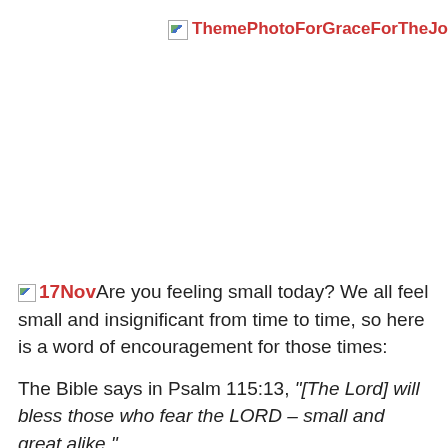[Figure (other): Broken image placeholder for ThemePhotoForGraceForTheJourney with alt text displayed in red bold]
Are you feeling small today? We all feel small and insignificant from time to time, so here is a word of encouragement for those times:
The Bible says in Psalm 115:13, “[The Lord] will bless those who fear the LORD – small and great alike.”
Think for a moment just how many ways we can feel that we are small in the eyes of the...